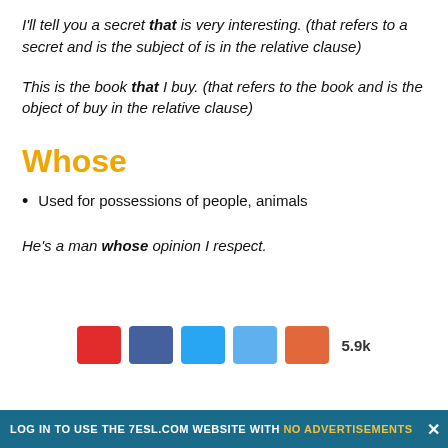I'll tell you a secret that is very interesting. (that refers to a secret and is the subject of is in the relative clause)
This is the book that I buy. (that refers to the book and is the object of buy in the relative clause)
Whose
Used for possessions of people, animals
He's a man whose opinion I respect.
LOG IN TO USE THE 7ESL.COM WEBSITE WITH NO ADVERTISEMENTS